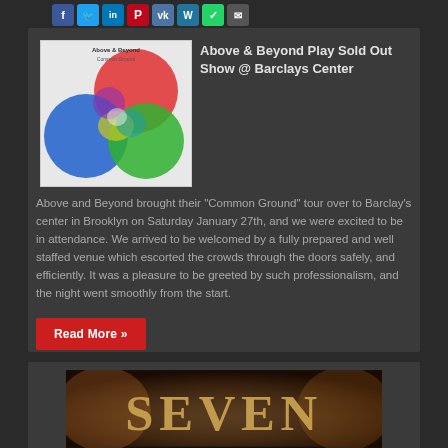[Figure (other): Row of social media sharing icons: Facebook, Twitter, LinkedIn, Pinterest, VK, WordPress, WhatsApp, Email]
[Figure (illustration): Above & Beyond Common Ground album cover art showing overlapping colorful circles (red, blue, green, yellow, purple) with artist name and album title text]
Above & Beyond Play Sold Out Show @ Barclays Center
Above and Beyond brought their “Common Ground” tour over to Barclay’s center in Brooklyn on Saturday January 27th, and we were excited to be in attendance. We arrived to be welcomed by a fully prepared and well staffed venue which escorted the crowds through the doors safely, and efficiently. It was a pleasure to be greeted by such professionalism, and the night went smoothly from the start.
Read More »
[Figure (photo): Partial image showing the word SEVEN in large stylized text, appears to be a concert or event promotional image]